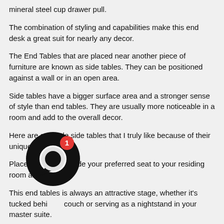mineral steel cup drawer pull.
The combination of styling and capabilities make this end desk a great suit for nearly any decor.
The End Tables that are placed near another piece of furniture are known as side tables. They can be positioned against a wall or in an open area.
Side tables have a bigger surface area and a stronger sense of style than end tables. They are usually more noticeable in a room and add to the overall decor.
Here are a couple side tables that I truly like because of their unique design.
Place this piece beside your preferred seat to your residing room and enjoy.
This end tables is always an attractive stage, whether it's tucked behind a couch or serving as a nightstand in your master suite.
Its circular hardwood body features modest shaping alongside the top, giving it a more traditional feel.
With this beautiful end tables, you can display home decor, rest your